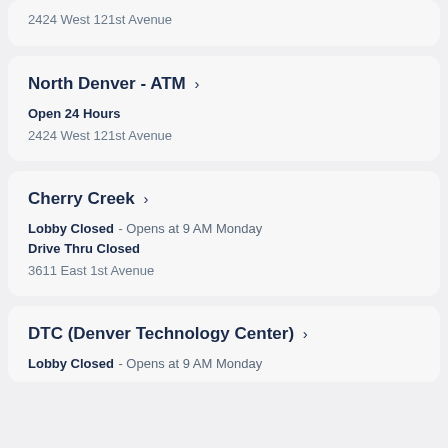2424 West 121st Avenue
North Denver - ATM >
Open 24 Hours
2424 West 121st Avenue
Cherry Creek >
Lobby Closed - Opens at 9 AM Monday
Drive Thru Closed
3611 East 1st Avenue
DTC (Denver Technology Center) >
Lobby Closed - Opens at 9 AM Monday